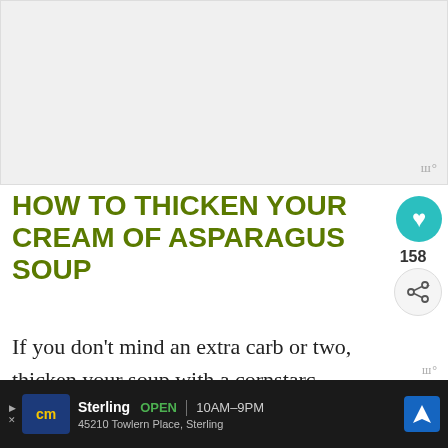[Figure (photo): Blank/placeholder image area at top of webpage screenshot]
HOW TO THICKEN YOUR CREAM OF ASPARAGUS SOUP
If you don't mind an extra carb or two, thicken your soup with a cornstarc… This is a combination of 2 tbsp of cornstarch
[Figure (screenshot): WHAT'S NEXT arrow label with Keto Cream of Mushroom... thumbnail]
[Figure (screenshot): Advertisement bar: cm Sterling OPEN 10AM-9PM 45210 Towlern Place, Sterling with navigation icon]